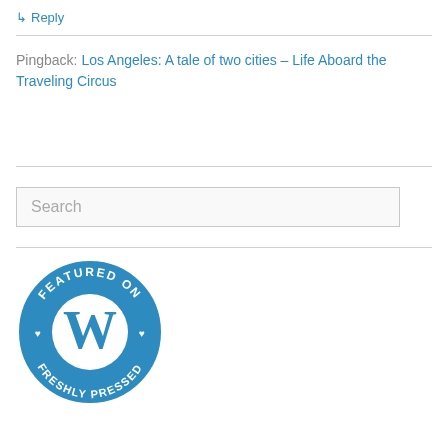↳ Reply
Pingback: Los Angeles: A tale of two cities – Life Aboard the Traveling Circus
Search
[Figure (logo): WordPress 'Featured on Freshly Pressed' circular badge in blue with white WordPress W logo and text reading FEATURED ON FRESHLY PRESSED with small hearts]